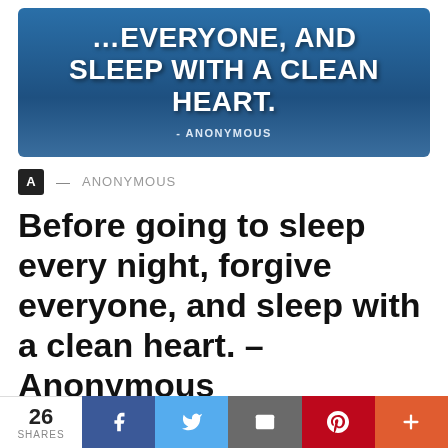[Figure (illustration): Quote banner with blue gradient background showing text: '...EVERYONE, AND SLEEP WITH A CLEAN HEART.' - ANONYMOUS in bold white uppercase letters]
A — ANONYMOUS
Before going to sleep every night, forgive everyone, and sleep with a clean heart. – Anonymous
26 SHARES  [Facebook] [Twitter] [Email] [Pinterest] [More]